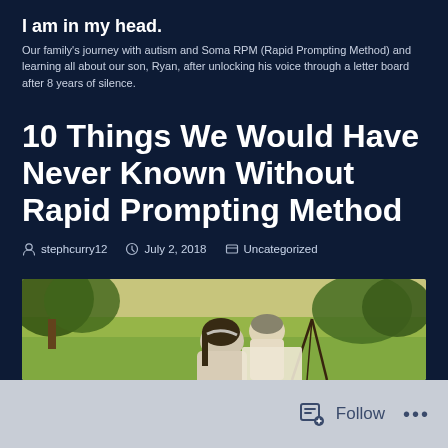I am in my head.
Our family's journey with autism and Soma RPM (Rapid Prompting Method) and learning all about our son, Ryan, after unlocking his voice through a letter board after 8 years of silence.
10 Things We Would Have Never Known Without Rapid Prompting Method
stephcurry12   July 2, 2018   Uncategorized
[Figure (photo): Two people outdoors in a park or field, one leaning over the other who appears to be working on something on a stand, with green grass and trees in the background.]
Follow   ...